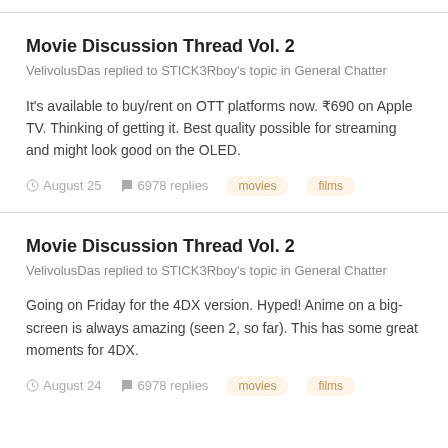Movie Discussion Thread Vol. 2
VelivolusDas replied to STICK3Rboy's topic in General Chatter
It's available to buy/rent on OTT platforms now. ₹690 on Apple TV. Thinking of getting it. Best quality possible for streaming and might look good on the OLED.
August 25  6978 replies  movies  films
Movie Discussion Thread Vol. 2
VelivolusDas replied to STICK3Rboy's topic in General Chatter
Going on Friday for the 4DX version. Hyped! Anime on a big-screen is always amazing (seen 2, so far). This has some great moments for 4DX.
August 24  6978 replies  movies  films